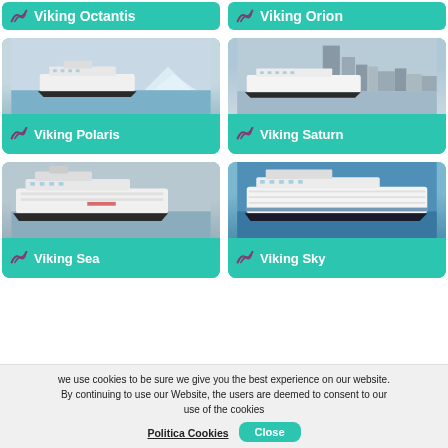[Figure (photo): Viking Octantis ship card (partial, top)]
[Figure (photo): Viking Orion ship card (partial, top)]
[Figure (photo): Viking Polaris cruise ship in icy waters]
[Figure (photo): Viking Saturn cruise ship with city skyline]
[Figure (photo): Viking Sea cruise ship]
[Figure (photo): Viking Sky cruise ship on blue water]
we use cookies to be sure we give you the best experience on our website. By continuing to use our Website, the users are deemed to consent to our use of the cookies
Politica Cookies
Close